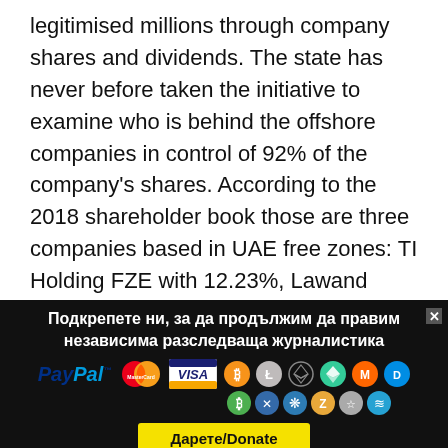legitimised millions through company shares and dividends. The state has never before taken the initiative to examine who is behind the offshore companies in control of 92% of the company's shares. According to the 2018 shareholder book those are three companies based in UAE free zones: TI Holding FZE with 12.23%, Lawand General Trading FZE with 13.97%, Gifted Master LTD (Adjman) with 18.10%; and two more based in Lichtenstein:
Подкрепете ни, за да продължим да правим независима разследваща журналистика
[Figure (infographic): Payment method logos: PayPal, MasterCard, VISA, Bitcoin, Litecoin, Ethereum (outline), Ethereum, Monero, Dash, Bitcoin (green), Ripple, some other crypto icons, and a yellow Дарете/Donate button]